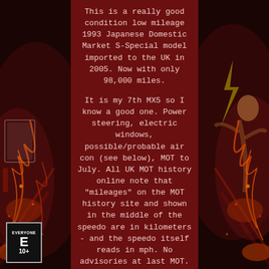[Figure (illustration): Dark background with decorative artwork on left and right sides, appearing to show animated characters with fire/action effects. Center panel is dark red. Bottom left has ESRB rating badge showing EVERYONE 10+.]
This is a really good condition low mileage 1993 Japanese Domestic Market S-Special model imported to the UK in 2005. Now with only 98,000 miles.
It is my 7th MX5 so I know a good one. Power steering, electric windows, possible/probable air con (see below), MOT to July. All UK MOT history online note that "mileages" on the MOT history site and shown in the middle of the speedo are in kilometers - and the speedo itself reads in mph. No advisories at last MOT.
If you got a lift in a larger car to come to collect you'd probably put the mohair top in the larger car and the hard top on the Eunos. If you come by train you will just fit the mohair roof in the car with the hardtop on. Really good Brilliant Black paint and bodywork, great underneath (pics available - on